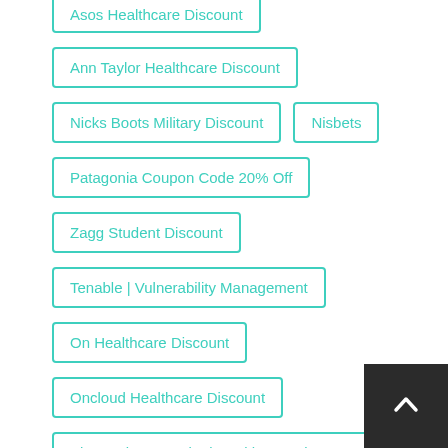Asos Healthcare Discount
Ann Taylor Healthcare Discount
Nicks Boots Military Discount
Nisbets
Patagonia Coupon Code 20% Off
Zagg Student Discount
Tenable | Vulnerability Management
On Healthcare Discount
Oncloud Healthcare Discount
Planet Fitness United Healthcare Discount
Progressive Healthcare Discount